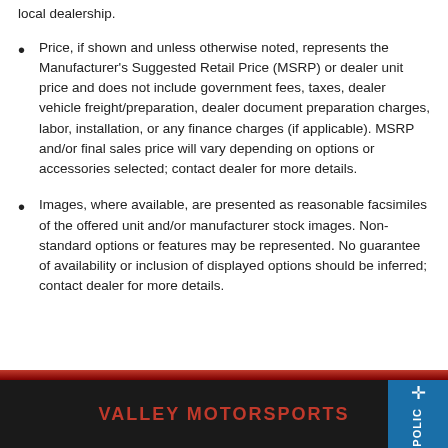local dealership.
Price, if shown and unless otherwise noted, represents the Manufacturer's Suggested Retail Price (MSRP) or dealer unit price and does not include government fees, taxes, dealer vehicle freight/preparation, dealer document preparation charges, labor, installation, or any finance charges (if applicable). MSRP and/or final sales price will vary depending on options or accessories selected; contact dealer for more details.
Images, where available, are presented as reasonable facsimiles of the offered unit and/or manufacturer stock images. Non-standard options or features may be represented. No guarantee of availability or inclusion of displayed options should be inferred; contact dealer for more details.
VALLEY MOTORSPORTS